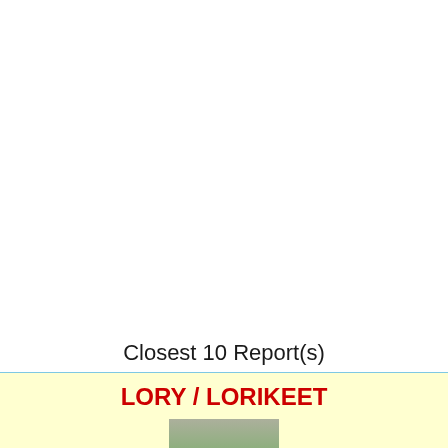Closest 10 Report(s)
LORY / LORIKEET
[Figure (photo): Partial photo of a lory or lorikeet bird, partially visible at bottom of page]